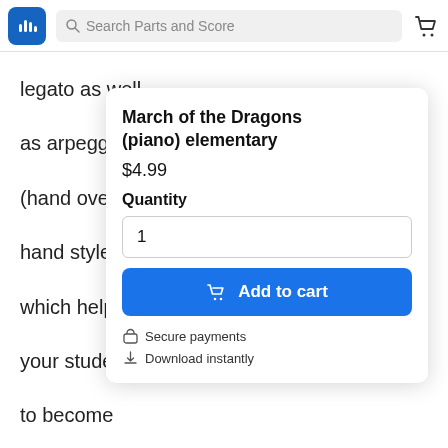Search Parts and Score
legato as well as arpeggios (hand over hand style) which helps your student to become more comfortable with positions on the keyboard. The arpeggios is simply the e minor triad so
March of the Dragons (piano) elementary
$4.99
Quantity
1
Add to cart
Secure payments
Download instantly